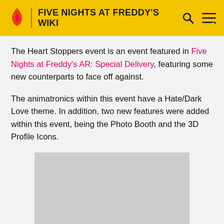FIVE NIGHTS AT FREDDY'S WIKI
The Heart Stoppers event is an event featured in Five Nights at Freddy's AR: Special Delivery, featuring some new counterparts to face off against.
The animatronics within this event have a Hate/Dark Love theme. In addition, two new features were added within this event, being the Photo Booth and the 3D Profile Icons.
[Figure (photo): Gray image placeholder rectangle]